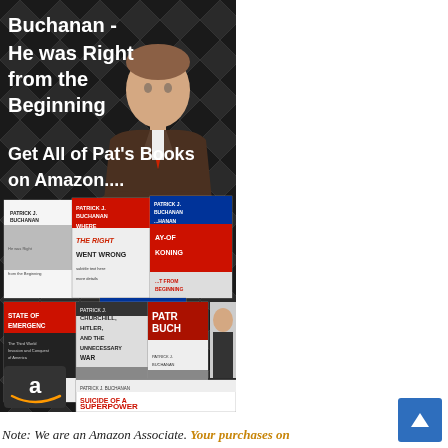[Figure (illustration): Promotional image with dark diamond/argyle background showing Pat Buchanan in suit with crossed arms. Text overlay reads 'Buchanan - He was Right from the Beginning' and 'Get All of Pat's Books on Amazon....' with a collage of book covers at bottom including 'State of Emergency', 'Where the Right Went Wrong', 'Churchill, Hitler, and the Unnecessary War', 'A Republic, Not an Empire', 'Suicide of a Superpower', and others. Amazon logo visible at bottom left.]
Note: We are an Amazon Associate. Your purchases on Amazon will help support Pat's work. Thank you.